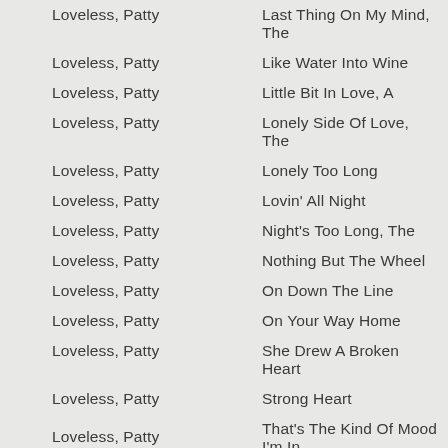Loveless, Patty | Last Thing On My Mind, The
Loveless, Patty | Like Water Into Wine
Loveless, Patty | Little Bit In Love, A
Loveless, Patty | Lonely Side Of Love, The
Loveless, Patty | Lonely Too Long
Loveless, Patty | Lovin' All Night
Loveless, Patty | Night's Too Long, The
Loveless, Patty | Nothing But The Wheel
Loveless, Patty | On Down The Line
Loveless, Patty | On Your Way Home
Loveless, Patty | She Drew A Broken Heart
Loveless, Patty | Strong Heart
Loveless, Patty | That's The Kind Of Mood I'm In
Loveless, Patty | Thousand Times A Day, A
Loveless, Patty | Timber I'm Falling In Love